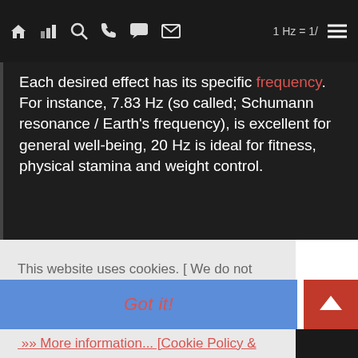1 Hz = 1/s ≡
Each desired effect has its specific frequency. For instance, 7.83 Hz (so called; Schumann resonance / Earth's frequency), is excellent for general well-being, 20 Hz is ideal for fitness, physical stamina and weight control.
This website uses cookies. [ We do not collect and do not store any personal information on the server! ]
»» More information... [Cookie Policy & GDP(R) statement (Data Protection Declaration)]
Got it!
0 = 0.1    5 = 0.2